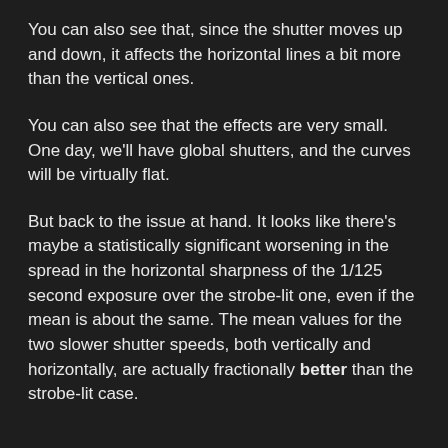You can also see that, since the shutter moves up and down, it affects the horizontal lines a bit more than the vertical ones.
You can also see that the effects are very small. One day, we'll have global shutters, and the curves will be virtually flat.
But back to the issue at hand. It looks like there's maybe a statistically significant worsening in the spread in the horizontal sharpness of the 1/125 second exposure over the strobe-lit one, even if the mean is about the same. The mean values for the two slower shutter speeds, both vertically and horizontally, are actually fractionally better than the strobe-lit case.